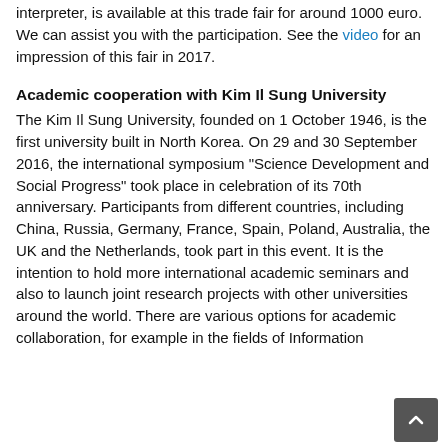interpreter, is available at this trade fair for around 1000 euro. We can assist you with the participation. See the video for an impression of this fair in 2017.
Academic cooperation with Kim Il Sung University
The Kim Il Sung University, founded on 1 October 1946, is the first university built in North Korea. On 29 and 30 September 2016, the international symposium "Science Development and Social Progress" took place in celebration of its 70th anniversary. Participants from different countries, including China, Russia, Germany, France, Spain, Poland, Australia, the UK and the Netherlands, took part in this event. It is the intention to hold more international academic seminars and also to launch joint research projects with other universities around the world. There are various options for academic collaboration, for example in the fields of Information